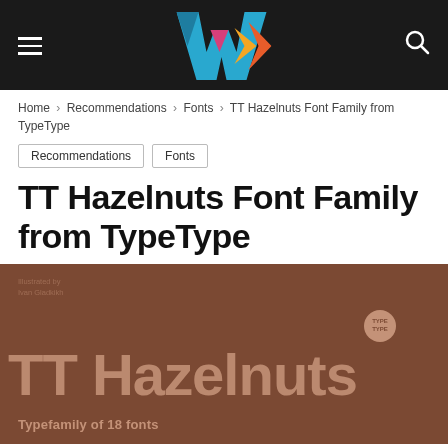Navigation bar with hamburger menu, WARK logo, and search icon
Home › Recommendations › Fonts › TT Hazelnuts Font Family from TypeType
Recommendations
Fonts
TT Hazelnuts Font Family from TypeType
[Figure (illustration): Brown/hazelnut background promotional image for TT Hazelnuts font. Large text reads 'TT Hazelnuts' with a TypeType circular badge. Below: 'Typefamily of 18 fonts'. Small attribution text top-left reads 'Illustrated by Ivan Gladkikh'.]
This website uses cookies to improve your experience. By